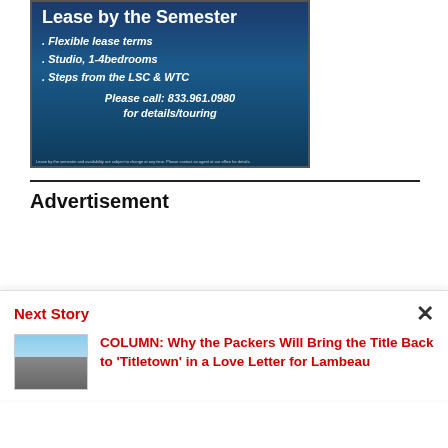[Figure (photo): Advertisement image with dark blue ocean background showing text: 'Lease by the Semester. Flexible lease terms. Studio, 1-4 bedrooms. Steps from the LSC & WTC. Please call: 833.961.0980 for details/touring']
Advertisement
Next Story
COLUMN: Why the Packers Will Bring the Title Back to 'Titletown' in a Love Letter for Lambeau